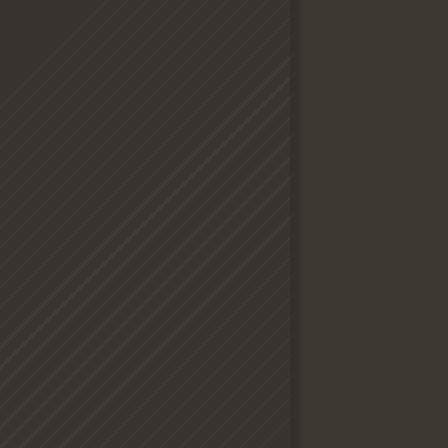[Figure (illustration): Dark decorative page background with two sections: left section has diagonal stripe pattern on dark brown/charcoal background, right section is a solid dark brown/charcoal panel. The diagonal lines on the left are subtle lighter streaks running from bottom-left to top-right.]